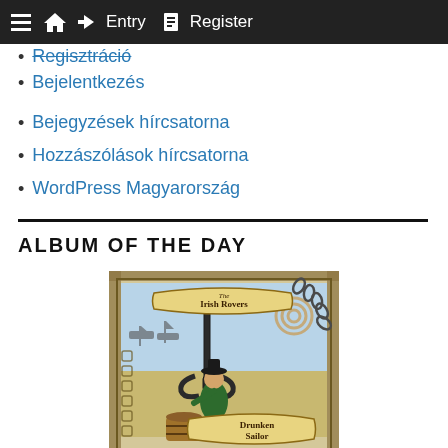≡ 🏠 → Entry 📋 Register
Regisztráció
Bejelentkezés
Bejegyzések hírcsatorna
Hozzászólások hírcsatorna
WordPress Magyarország
ALBUM OF THE DAY
[Figure (illustration): Album cover for The Irish Rovers - Drunken Sailor. Illustrated artwork showing a pirate sailor figure reclining against a large anchor, with ships in the background, rope coils, treasure chest, and decorative Celtic knotwork border. Banners read 'The Irish Rovers' at top and 'Drunken Sailor' at bottom.]